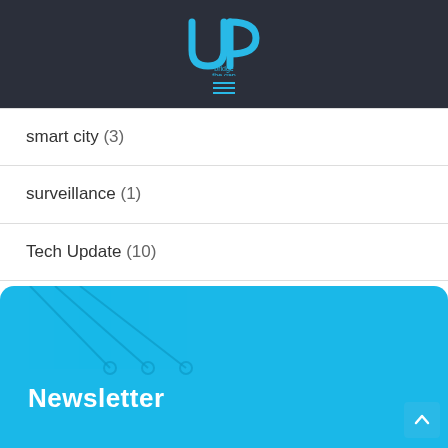[Figure (logo): UP bridge the gap logo with cyan/blue UP letters and tagline 'bridge the gap' on dark background, with hamburger menu icon below]
smart city (3)
surveillance (1)
Tech Update (10)
[Figure (illustration): Cyan blue newsletter signup section with circuit board decorative lines and circles in top-left corner, bold white Newsletter heading, and scroll-to-top button in bottom right]